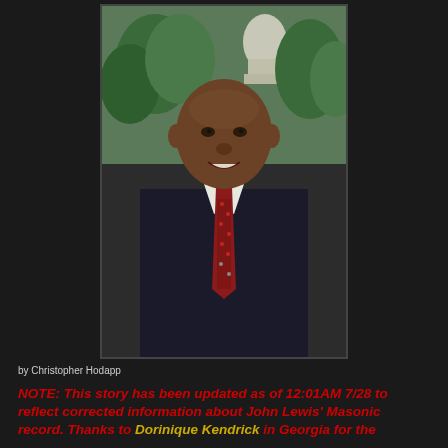[Figure (photo): Portrait photo of John Lewis, a Black man in a dark suit and red patterned tie, smiling, with the US Capitol dome and trees visible in the background.]
by Christopher Hodapp
NOTE: This story has been updated as of 12:01AM 7/28 to reflect corrected information about John Lewis' Masonic record. Thanks to Dorinique Kendrick in Georgia for the